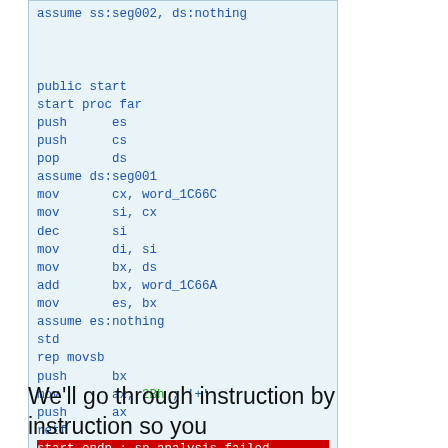[Figure (screenshot): Code listing showing x86 assembly language for a 'start' procedure. The last line 'start endp ; sp-analysis failed' is highlighted in red. Code is shown in a light blue box with dark blue monospace text.]
We'll go through instruction by instruction so you